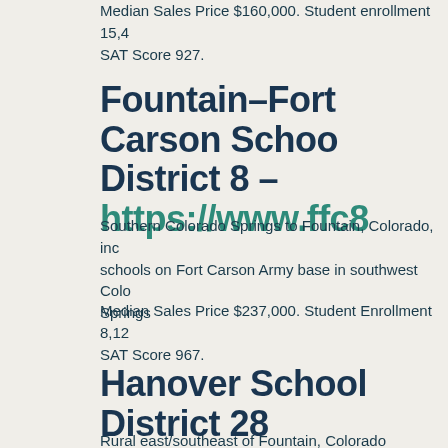Median Sales Price $160,000. Student enrollment 15,4... SAT Score 927.
Fountain-Fort Carson School District 8 - https://www.ffc8
Southern Colorado Springs to Fountain, Colorado, inc... schools on Fort Carson Army base in southwest Colo... Springs
Median Sales Price $237,000. Student Enrollment 8,12... SAT Score 967.
Hanover School District 28 - www.hanoverhornets.org/
Rural east/southeast of Fountain, Colorado